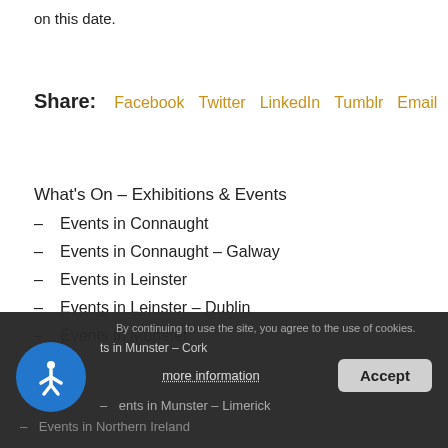on this date.
Share: Facebook Twitter LinkedIn Tumblr Email
What's On – Exhibitions & Events
– Events in Connaught
– Events in Connaught – Galway
– Events in Leinster
– Events in Leinster – Dublin
– Events in Munster
– Events in Munster – Cork
– Events in Munster – Limerick
– Events in Northern Ireland
By continuing to use the site, you agree to the use of cookies. more information Accept